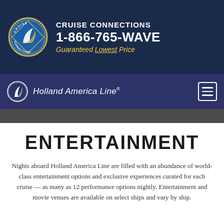[Figure (logo): Cruise Connections company banner with circular logo, phone number 1-866-765-WAVE, and tagline Guaranteed Lowest Price on dark navy background]
[Figure (logo): Holland America Line navigation bar with ship logo, company name, and hamburger menu button on dark blue/purple background]
ENTERTAINMENT
Nights aboard Holland America Line are filled with an abundance of world-class entertainment options and exclusive experiences curated for each cruise — as many as 12 performance options nightly. Entertainment and movie venues are available on select ships and vary by ship.